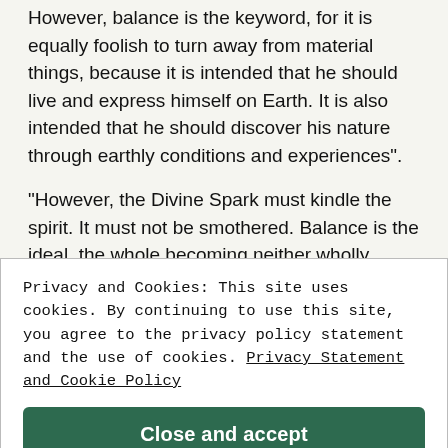However, balance is the keyword, for it is equally foolish to turn away from material things, because it is intended that he should live and express himself on Earth. It is also intended that he should discover his nature through earthly conditions and experiences".
"However, the Divine Spark must kindle the spirit. It must not be smothered. Balance is the ideal, the whole becoming neither wholly inwardly nor
Privacy and Cookies: This site uses cookies. By continuing to use this site, you agree to the privacy policy statement and the use of cookies. Privacy Statement and Cookie Policy
Close and accept
of the body, then he cannot perceive Me, for I am